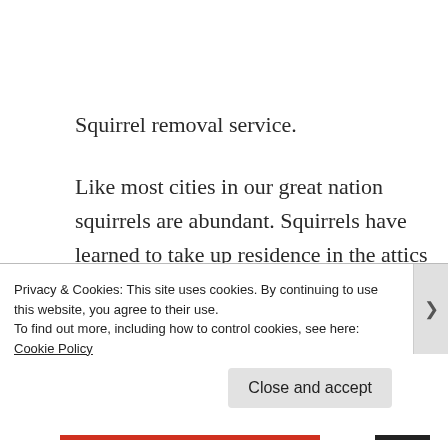Squirrel removal service.
Like most cities in our great nation squirrels are abundant. Squirrels have learned to take up residence in the attics spaces, in the eaves, gable vents and even
Privacy & Cookies: This site uses cookies. By continuing to use this website, you agree to their use.
To find out more, including how to control cookies, see here: Cookie Policy
Close and accept